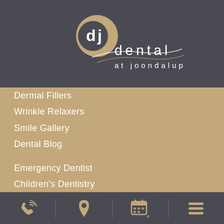[Figure (logo): Dental at Joondalup logo with circular 'dj' icon in gold and white, decorative curves, and text 'dental at joondalup' in white on dark grey background]
Dermal Fillers
Wrinkle Relaxers
Smile Gallery
Dental Blog
Emergency Dentist
Children's Dentistry
Dental Crowns
Wisdom Tooth Removal
Dental Fillings
Dental Bridges
Gum Disease
[Figure (infographic): Bottom navigation bar with four gold icons: phone with signal waves, location pin, calendar, and hamburger menu, separated by vertical dividers on dark grey background]